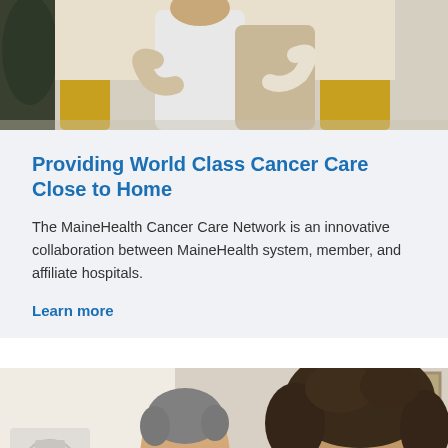[Figure (photo): Two people hugging or embracing in a warm indoor setting, one appears to be a healthcare provider in a white coat]
Providing World Class Cancer Care Close to Home
The MaineHealth Cancer Care Network is an innovative collaboration between MaineHealth system, member, and affiliate hospitals.
Learn more
[Figure (photo): Two people looking at something together in a clinical or office setting, one older woman with glasses and one younger person with curly hair]